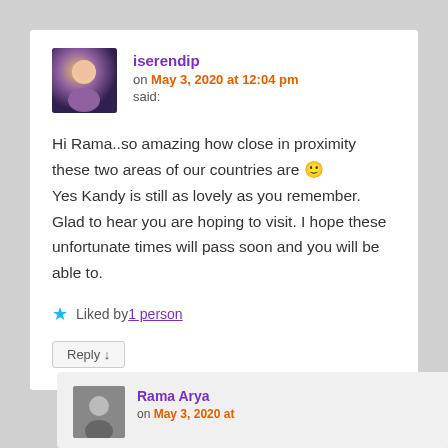iserendip on May 3, 2020 at 12:04 pm said:
Hi Rama..so amazing how close in proximity these two areas of our countries are 🙂 Yes Kandy is still as lovely as you remember. Glad to hear you are hoping to visit. I hope these unfortunate times will pass soon and you will be able to.
★ Liked by 1 person
Reply ↓
Rama Arya on May 3, 2020 at